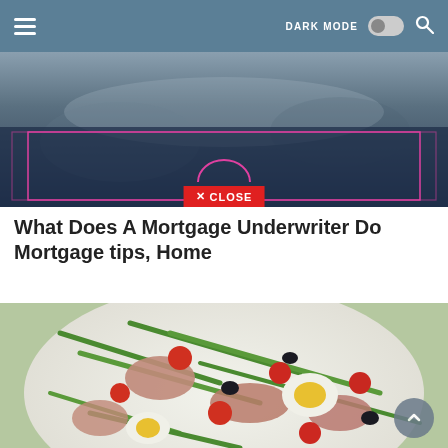☰  DARK MODE  🔍
[Figure (screenshot): Partial web page screenshot showing a dark blue/teal background with pink/magenta border overlay boxes and a red CLOSE button with X icon at the bottom center. Arc decoration above close button.]
What Does A Mortgage Underwriter Do Mortgage tips, Home
[Figure (photo): Close-up photo of a Nicoise salad on a white plate, showing green beans, cherry tomatoes, hard-boiled egg, tuna, and black olives.]